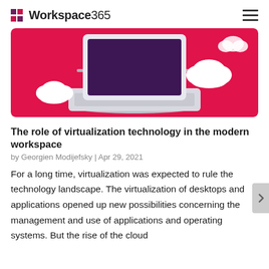Workspace365
[Figure (illustration): Illustrated laptop on a pink/red background with white clouds, representing cloud and virtualization technology.]
The role of virtualization technology in the modern workspace
by Georgien Modijefsky | Apr 29, 2021
For a long time, virtualization was expected to rule the technology landscape. The virtualization of desktops and applications opened up new possibilities concerning the management and use of applications and operating systems. But the rise of the cloud